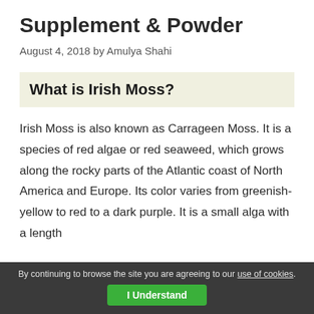Supplement & Powder
August 4, 2018 by Amulya Shahi
What is Irish Moss?
Irish Moss is also known as Carrageen Moss. It is a species of red algae or red seaweed, which grows along the rocky parts of the Atlantic coast of North America and Europe. Its color varies from greenish-yellow to red to a dark purple. It is a small alga with a length
By continuing to browse the site you are agreeing to our use of cookies. I Understand